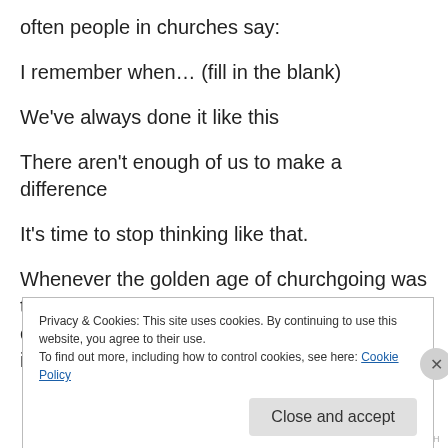often people in churches say:
I remember when… (fill in the blank)
We've always done it like this
There aren't enough of us to make a difference
It's time to stop thinking like that.
Whenever the golden age of churchgoing was the world is no longer like it was then. And churches need to adapt to that change if hope is to be fulfilled.
Privacy & Cookies: This site uses cookies. By continuing to use this website, you agree to their use.
To find out more, including how to control cookies, see here: Cookie Policy